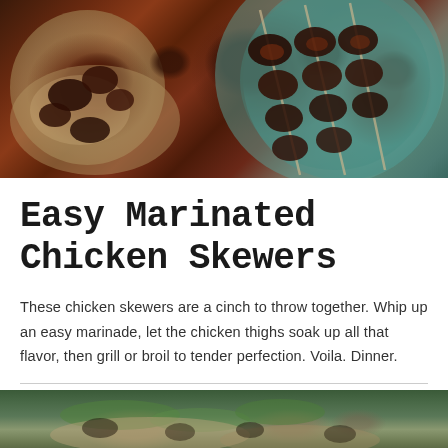[Figure (photo): Overhead photo of marinated chicken skewers on teal/blue plates with flatbread, dark reddish-brown glazed chicken pieces on skewers]
Easy Marinated Chicken Skewers
These chicken skewers are a cinch to throw together. Whip up an easy marinade, let the chicken thighs soak up all that flavor, then grill or broil to tender perfection. Voila. Dinner.
[Figure (photo): Partial photo of another food dish, appears to be a salad or garnished dish with green toppings, viewed from above]